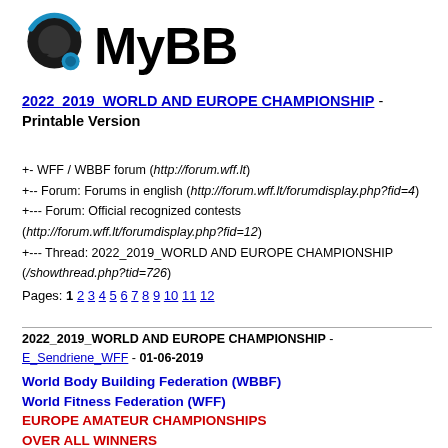[Figure (logo): MyBB forum logo with speech bubble icon and MyBB text]
2022 2019 WORLD AND EUROPE CHAMPIONSHIP - Printable Version
+- WFF / WBBF forum (http://forum.wff.lt)
+-- Forum: Forums in english (http://forum.wff.lt/forumdisplay.php?fid=4)
+--- Forum: Official recognized contests (http://forum.wff.lt/forumdisplay.php?fid=12)
+--- Thread: 2022_2019_WORLD AND EUROPE CHAMPIONSHIP (/showthread.php?tid=726)
Pages: 1 2 3 4 5 6 7 8 9 10 11 12
2022_2019_WORLD AND EUROPE CHAMPIONSHIP - E_Sendriene_WFF - 01-06-2019
World Body Building Federation (WBBF)
World Fitness Federation (WFF)
EUROPE AMATEUR CHAMPIONSHIPS
OVER ALL WINNERS
(2000-2018)
MEN